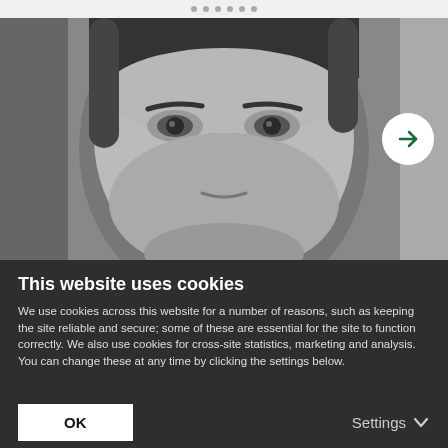[Figure (photo): Grayscale close-up photo of a man's face with dark hair, with a navigation dot indicator at the top and a forward arrow button on the right side.]
This website uses cookies
We use cookies across this website for a number of reasons, such as keeping the site reliable and secure; some of these are essential for the site to function correctly. We also use cookies for cross-site statistics, marketing and analysis. You can change these at any time by clicking the settings below.
OK
Settings